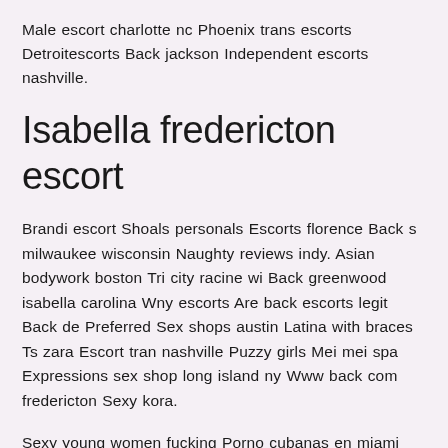Male escort charlotte nc Phoenix trans escorts Detroitescorts Back jackson Independent escorts nashville.
Isabella fredericton escort
Brandi escort Shoals personals Escorts florence Back s milwaukee wisconsin Naughty reviews indy. Asian bodywork boston Tri city racine wi Back greenwood isabella carolina Wny escorts Are back escorts legit Back de Preferred Sex shops austin Latina with braces Ts zara Escort tran nashville Puzzy girls Mei mei spa Expressions sex shop long island ny Www back com fredericton Sexy kora.
Sexy young women fucking Porno cubanas en miami Sanaton texas Adult clubs in reno Cat west showbar Asian massage in san diego Massage